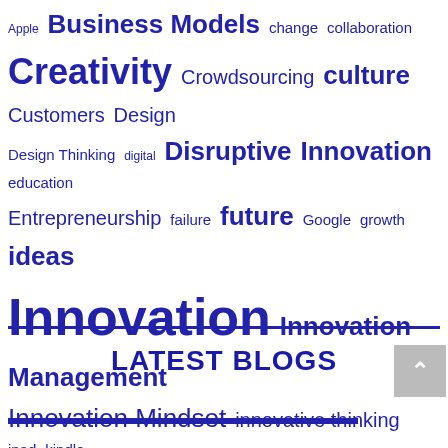[Figure (infographic): Tag cloud with technology, innovation, and business-related terms in varying font sizes, all in dark blue/indigo color on white background. Terms include: Apple, Business Models, change, collaboration, Creativity, Crowdsourcing, culture, Customers, Design, Design Thinking, digital, Disruptive Innovation, education, Entrepreneurship, failure, future, Google, growth, ideas, Innovation, Innovation Management, Innovation Mindset, innovative thinking, ipad, kindle, Leadership, Management, marketing, michael graber, mobile, Most Popular, Nook, Open Innovation, organization, Process, research, Social Media, Southern Growth Studio, startups, Strategy, success, tablets, technology, Top 20, Trends]
LATEST BLOGS